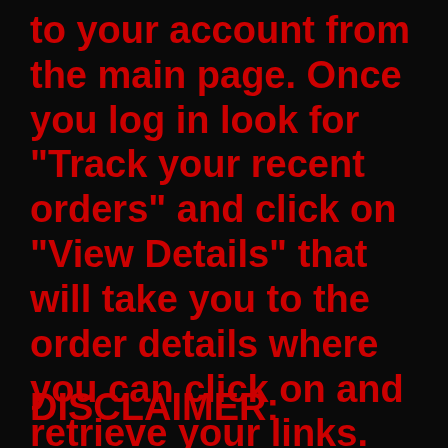to your account from the main page. Once you log in look for "Track your recent orders" and click on "View Details" that will take you to the order details where you can click on and retrieve your links.
DISCLAIMER: